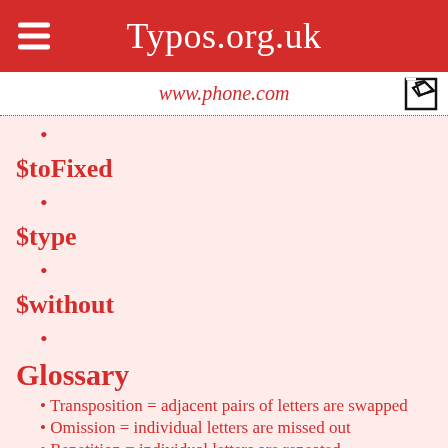Typos.org.uk
www.phone.com
$toFixed
$type
$without
Glossary
Transposition = adjacent pairs of letters are swapped
Omission = individual letters are missed out
Repetition = individual letters are repeated